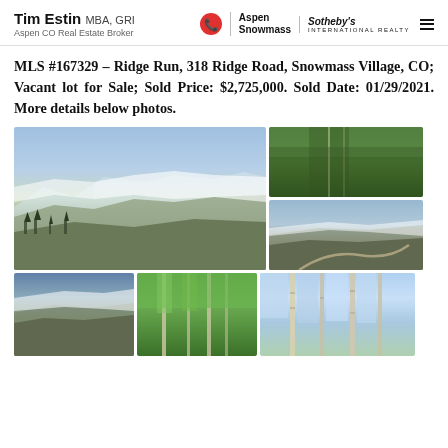Tim Estin MBA, GRI – Aspen CO Real Estate Broker | Aspen Snowmass Sotheby's International Realty
MLS #167329 – Ridge Run, 318 Ridge Road, Snowmass Village, CO; Vacant lot for Sale; Sold Price: $2,725,000. Sold Date: 01/29/2021. More details below photos.
[Figure (photo): Aerial winter view of Snowmass Village ski area with snowy mountain slopes and valley]
[Figure (photo): Aerial summer view showing green forested mountain slope with trail]
[Figure (photo): Aerial winter overview of Snowmass Village with ski runs and winding roads]
[Figure (photo): Winter mountain view showing forested hillside]
[Figure (photo): Summer view through aspen trees with mountain behind]
[Figure (photo): Close-up view of tall aspen trees against blue sky]